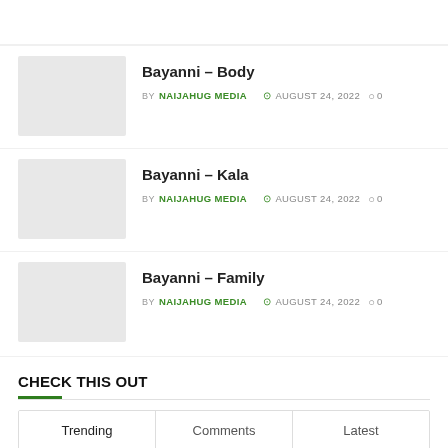Bayanni – Body | BY NAIJAHUG MEDIA | AUGUST 24, 2022 | 0 comments
Bayanni – Kala | BY NAIJAHUG MEDIA | AUGUST 24, 2022 | 0 comments
Bayanni – Family | BY NAIJAHUG MEDIA | AUGUST 24, 2022 | 0 comments
CHECK THIS OUT
Trending | Comments | Latest